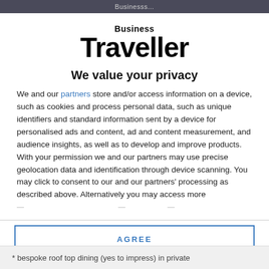Businesss...
[Figure (logo): Business Traveller logo — 'Business' in small bold text above 'Traveller' in large bold serif-style text]
We value your privacy
We and our partners store and/or access information on a device, such as cookies and process personal data, such as unique identifiers and standard information sent by a device for personalised ads and content, ad and content measurement, and audience insights, as well as to develop and improve products. With your permission we and our partners may use precise geolocation data and identification through device scanning. You may click to consent to our and our partners' processing as described above. Alternatively you may access more
AGREE
MORE OPTIONS
* bespoke roof top dining (yes to impress) in private